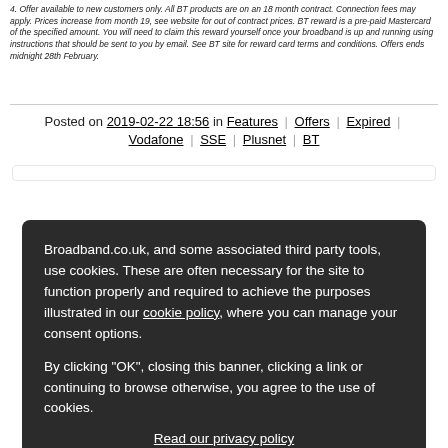4. Offer available to new customers only. All BT products are on an 18 month contract. Connection fees may apply. Prices increase from month 19, see website for out of contract prices. BT reward is a pre-paid Mastercard of the specified amount. You will need to claim this reward yourself once your broadband is up and running using instructions that should be sent to you by email. See BT site for reward card terms and conditions. Offers ends midnight 28th February.
Posted on 2019-02-22 18:56 in Features | Offers | Expired | Vodafone | SSE | Plusnet | BT
Broadband.co.uk, and some associated third party tools, use cookies. These are often necessary for the site to function properly and required to achieve the purposes illustrated in our cookie policy, where you can manage your consent options.

By clicking "OK", closing this banner, clicking a link or continuing to browse otherwise, you agree to the use of cookies.
Read our privacy policy
OK